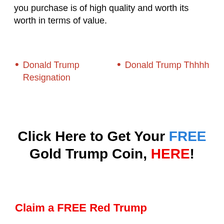you purchase is of high quality and worth its worth in terms of value.
Donald Trump Resignation
Donald Trump Thhhh
Click Here to Get Your FREE Gold Trump Coin, HERE!
Claim a FREE Red Trump